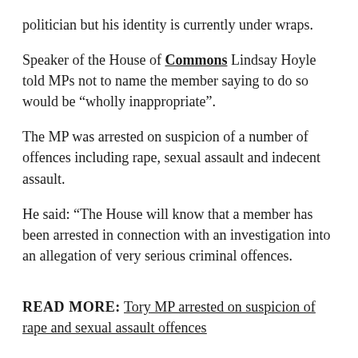politician but his identity is currently under wraps.
Speaker of the House of Commons Lindsay Hoyle told MPs not to name the member saying to do so would be “wholly inappropriate”.
The MP was arrested on suspicion of a number of offences including rape, sexual assault and indecent assault.
He said: “The House will know that a member has been arrested in connection with an investigation into an allegation of very serious criminal offences.
READ MORE: Tory MP arrested on suspicion of rape and sexual assault offences